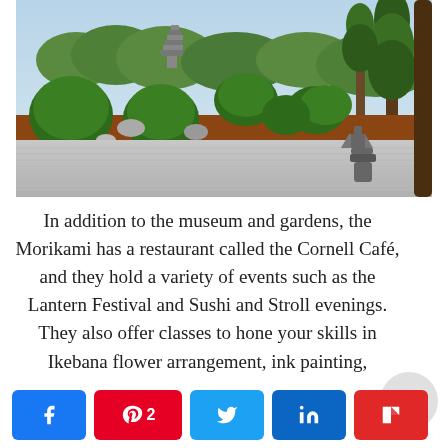[Figure (photo): Japanese garden with raked gravel, rounded topiary shrubs, rocks, a stone lantern, a pagoda in the background, and tall pine trees under a blue sky]
In addition to the museum and gardens, the Morikami has a restaurant called the Cornell Café, and they hold a variety of events such as the Lantern Festival and Sushi and Stroll evenings. They also offer classes to hone your skills in Ikebana flower arrangement, ink painting,